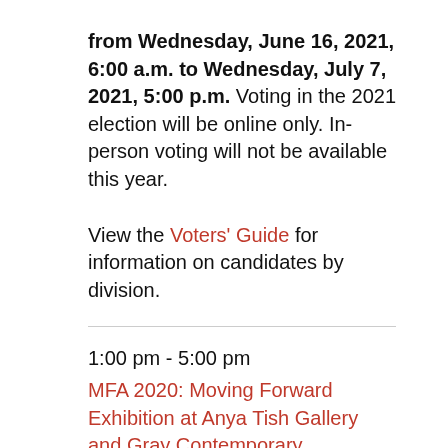from Wednesday, June 16, 2021, 6:00 a.m. to Wednesday, July 7, 2021, 5:00 p.m. Voting in the 2021 election will be online only. In-person voting will not be available this year.

View the Voters' Guide for information on candidates by division.
1:00 pm - 5:00 pm
MFA 2020: Moving Forward Exhibition at Anya Tish Gallery and Gray Contemporary
The University of Houston School of Art is pleased to announce Moving Forward, an exhibition of work made by artists and designers from the MFA Class of 2020.